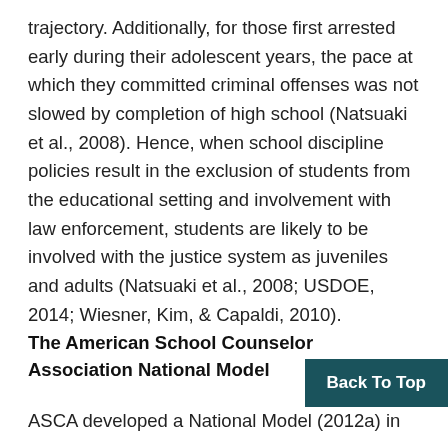trajectory. Additionally, for those first arrested early during their adolescent years, the pace at which they committed criminal offenses was not slowed by completion of high school (Natsuaki et al., 2008). Hence, when school discipline policies result in the exclusion of students from the educational setting and involvement with law enforcement, students are likely to be involved with the justice system as juveniles and adults (Natsuaki et al., 2008; USDOE, 2014; Wiesner, Kim, & Capaldi, 2010).
The American School Counselor Association National Model
ASCA developed a National Model (2012a) in